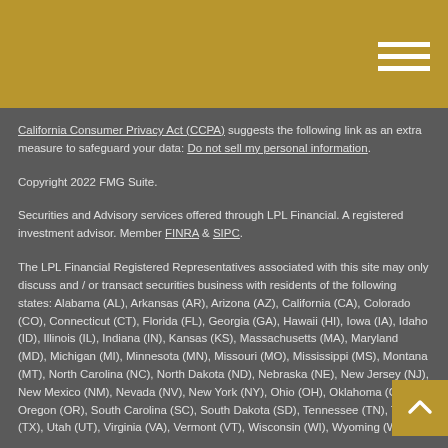California Consumer Privacy Act (CCPA) suggests the following link as an extra measure to safeguard your data: Do not sell my personal information.
Copyright 2022 FMG Suite.
Securities and Advisory services offered through LPL Financial. A registered investment advisor. Member FINRA & SIPC.
The LPL Financial Registered Representatives associated with this site may only discuss and / or transact securities business with residents of the following states: Alabama (AL), Arkansas (AR), Arizona (AZ), California (CA), Colorado (CO), Connecticut (CT), Florida (FL), Georgia (GA), Hawaii (HI), Iowa (IA), Idaho (ID), Illinois (IL), Indiana (IN), Kansas (KS), Massachusetts (MA), Maryland (MD), Michigan (MI), Minnesota (MN), Missouri (MO), Mississippi (MS), Montana (MT), North Carolina (NC), North Dakota (ND), Nebraska (NE), New Jersey (NJ), New Mexico (NM), Nevada (NV), New York (NY), Ohio (OH), Oklahoma (OK), Oregon (OR), South Carolina (SC), South Dakota (SD), Tennessee (TN), Texas (TX), Utah (UT), Virginia (VA), Vermont (VT), Wisconsin (WI), Wyoming (WY)
Fee-based advisory services are available only to residents of: Colorado (CO)
We are licensed to sell insurance products in the following states of: Colorado